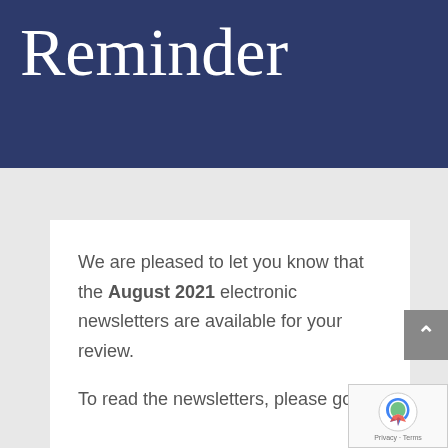Reminder
We are pleased to let you know that the August 2021 electronic newsletters are available for your review.
To read the newsletters, please go to (Newsletters)